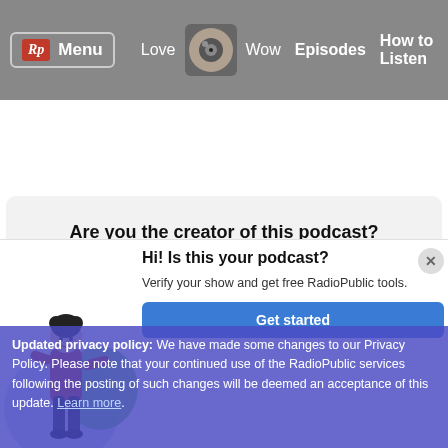Rp Menu  Love  Wow  Episodes  How to Listen
Are you the creator of this podcast?
Verify your account and pick the featured episodes for your show.
[Figure (illustration): Illustration of a person with buns hairstyle wearing a red top standing in front of green and blue circles]
Hi! Is this your podcast?
Verify your show and get free RadioPublic tools.
Get started
Updated privacy policy: We have made some changes to our Privacy Policy. Please note that your continued use of the RadioPublic services following the posting of such changes will be deemed an acceptance of this update. Learn more